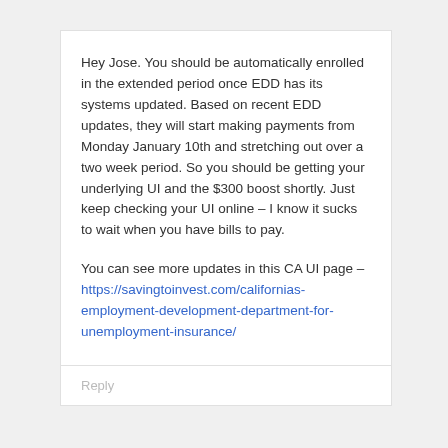Hey Jose. You should be automatically enrolled in the extended period once EDD has its systems updated. Based on recent EDD updates, they will start making payments from Monday January 10th and stretching out over a two week period. So you should be getting your underlying UI and the $300 boost shortly. Just keep checking your UI online – I know it sucks to wait when you have bills to pay.
You can see more updates in this CA UI page – https://savingtoinvest.com/californias-employment-development-department-for-unemployment-insurance/
Reply